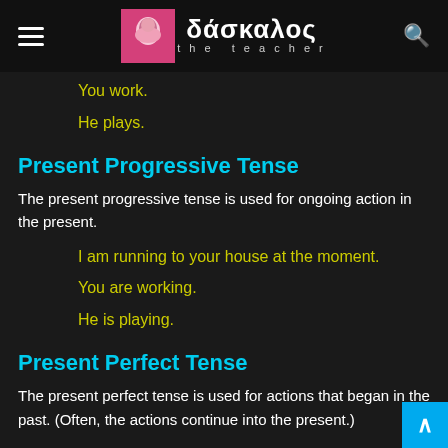δάσκαλος the teacher
You work.
He plays.
Present Progressive Tense
The present progressive tense is used for ongoing action in the present.
I am running to your house at the moment.
You are working.
He is playing.
Present Perfect Tense
The present perfect tense is used for actions that began in the past. (Often, the actions continue into the present.)